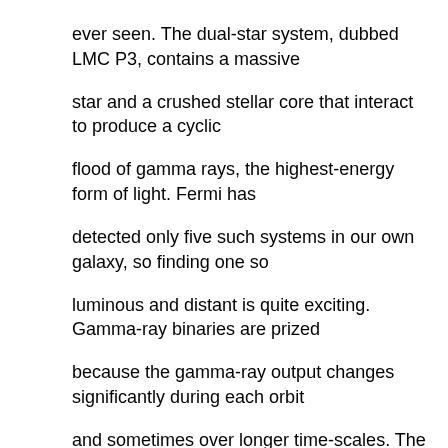ever seen. The dual-star system, dubbed LMC P3, contains a massive star and a crushed stellar core that interact to produce a cyclic flood of gamma rays, the highest-energy form of light. Fermi has detected only five such systems in our own galaxy, so finding one so luminous and distant is quite exciting. Gamma-ray binaries are prized because the gamma-ray output changes significantly during each orbit and sometimes over longer time-scales. The variation lets us study in detail many of the emission processes common to other gamma-ray sources. Those rare systems contain either a neutron star or a black hole, and radiate most of their energy in the form of gamma rays. Remarkably, LMC P3 is the most luminous such system known in gamma rays, X-rays, radio waves and visible light, and it is only the